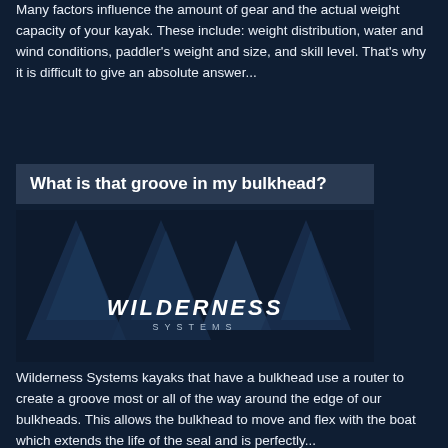Many factors influence the amount of gear and the actual weight capacity of your kayak. These include: weight distribution, water and wind conditions, paddler's weight and size, and skill level. That's why it is difficult to give an absolute answer...
What is that groove in my bulkhead?
[Figure (logo): Wilderness Systems brand logo on a dark blue background with geometric arrow/mountain shapes in a darker shade]
Wilderness Systems kayaks that have a bulkhead use a router to create a groove most or all of the way around the edge of our bulkheads. This allows the bulkhead to move and flex with the boat which extends the life of the seal and is perfectly...